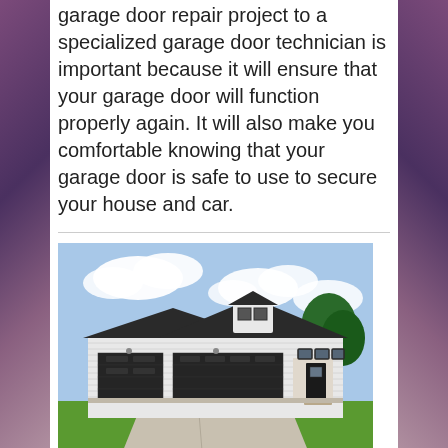garage door repair project to a specialized garage door technician is important because it will ensure that your garage door will function properly again. It will also make you comfortable knowing that your garage door is safe to use to secure your house and car.
[Figure (photo): Exterior photo of a modern white house with black garage doors — a large single-car garage door on the left, a double-car garage door in the center, and main entry with black windows on the right. Blue sky with clouds and green lawn visible.]
Tips and Advice for Garage Door Spring Replacement